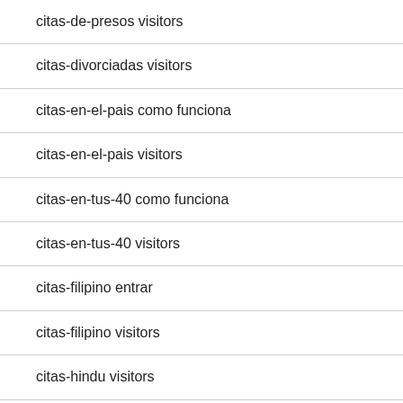citas-de-presos visitors
citas-divorciadas visitors
citas-en-el-pais como funciona
citas-en-el-pais visitors
citas-en-tus-40 como funciona
citas-en-tus-40 visitors
citas-filipino entrar
citas-filipino visitors
citas-hindu visitors
citas-indio espa?a
citas-internacionales espa?a